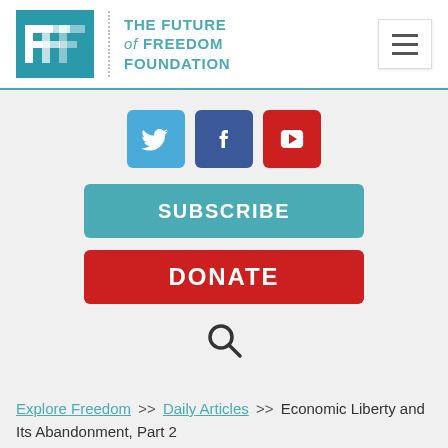[Figure (logo): The Future of Freedom Foundation logo with teal background and stylized F letters]
[Figure (infographic): Social media icons: Twitter (blue bird), Facebook (blue F), YouTube (red play button); Subscribe button (teal); Donate button (red); Search magnifying glass icon]
Explore Freedom >> Daily Articles >> Economic Liberty and Its Abandonment, Part 2